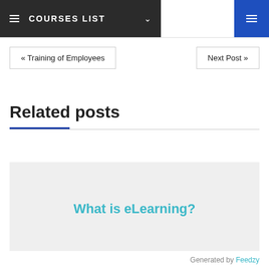COURSES LIST
« Training of Employees
Next Post »
Related posts
What is eLearning?
Generated by Feedzy